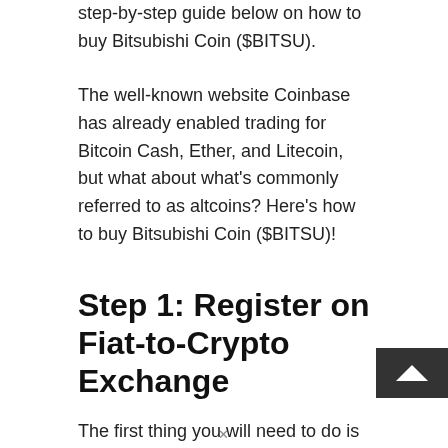step-by-step guide below on how to buy Bitsubishi Coin ($BITSU).
The well-known website Coinbase has already enabled trading for Bitcoin Cash, Ether, and Litecoin, but what about what's commonly referred to as altcoins? Here's how to buy Bitsubishi Coin ($BITSU)!
Step 1: Register on Fiat-to-Crypto Exchange
The first thing you will need to do is register with one of the many exchanges that allow fiat-to-